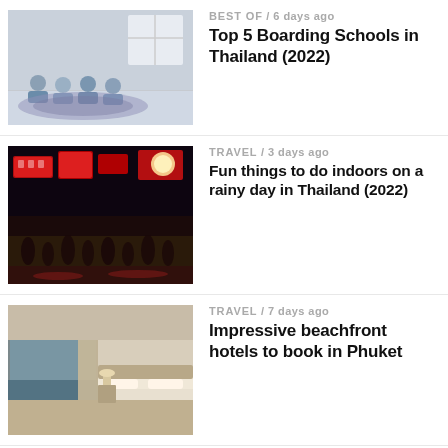BEST OF / 6 days ago — Top 5 Boarding Schools in Thailand (2022)
TRAVEL / 3 days ago — Fun things to do indoors on a rainy day in Thailand (2022)
TRAVEL / 7 days ago — Impressive beachfront hotels to book in Phuket
TRAVEL / 4 days ago — Affordable but stylish hotels in Koh Samui for your next holiday
THAILAND / 7 days ago — Govt take a trip to the shroom to help Thailand's depressed